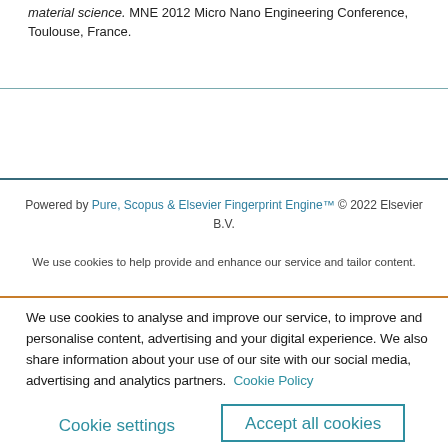material science. MNE 2012 Micro Nano Engineering Conference, Toulouse, France.
Powered by Pure, Scopus & Elsevier Fingerprint Engine™ © 2022 Elsevier B.V.
We use cookies to help provide and enhance our service and tailor content.
We use cookies to analyse and improve our service, to improve and personalise content, advertising and your digital experience. We also share information about your use of our site with our social media, advertising and analytics partners. Cookie Policy
Cookie settings
Accept all cookies